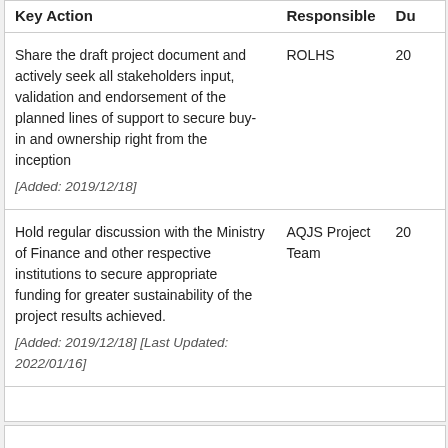| Key Action | Responsible | Du |
| --- | --- | --- |
| Share the draft project document and actively seek all stakeholders input, validation and endorsement of the planned lines of support to secure buy-in and ownership right from the inception
[Added: 2019/12/18] | ROLHS | 20 |
| Hold regular discussion with the Ministry of Finance and other respective institutions to secure appropriate funding for greater sustainability of the project results achieved.
[Added: 2019/12/18] [Last Updated: 2022/01/16] | AQJS Project Team | 20 |